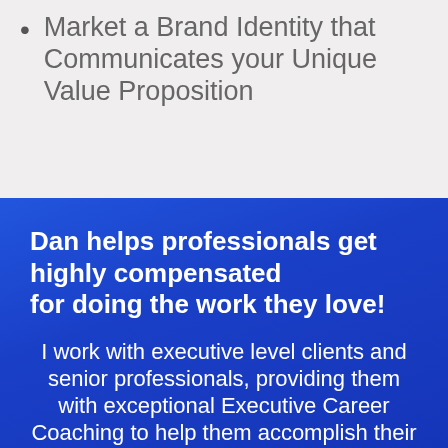Market a Brand Identity that Communicates your Unique Value Proposition
Dan helps professionals get highly compensated for doing the work they love!
I work with executive level clients and senior professionals, providing them with exceptional Executive Career Coaching to help them accomplish their professional goals and achieve career optimization